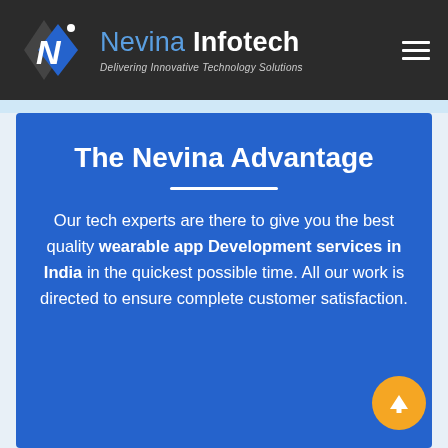Nevina Infotech — Delivering Innovative Technology Solutions
The Nevina Advantage
Our tech experts are there to give you the best quality wearable app Development services in India in the quickest possible time. All our work is directed to ensure complete customer satisfaction.